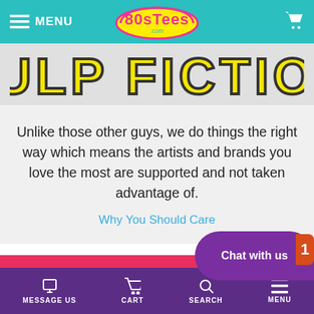MENU | 80sTees.com | Cart
[Figure (screenshot): Pulp Fiction logo text in yellow block letters on gray background, partially visible]
Unlike those other guys, we do things the right way which means the artists and brands you love the most are supported and not taken advantage of.
Why You Should Care
The license for Pulp Fiction is
[Figure (other): Purple chat bubble with text 'Chat with us']
MESSAGE US | CART | SEARCH | MENU